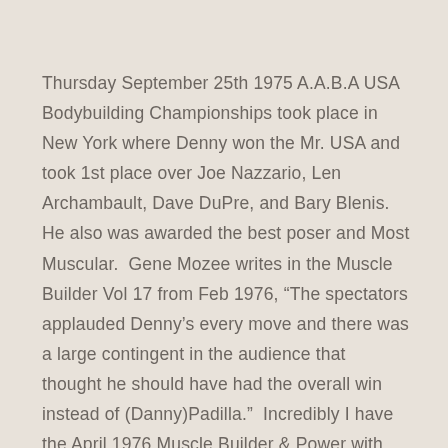Thursday September 25th 1975 A.A.B.A USA Bodybuilding Championships took place in New York where Denny won the Mr. USA and took 1st place over Joe Nazzario, Len Archambault, Dave DuPre, and Bary Blenis.  He also was awarded the best poser and Most Muscular.  Gene Mozee writes in the Muscle Builder Vol 17 from Feb 1976, “The spectators applauded Denny’s every move and there was a large contingent in the audience that thought he should have had the overall win instead of (Danny)Padilla.”  Incredibly I have the April 1976 Muscle Builder & Power with several of the photographs by Jimmy Caruso, which are shown below.